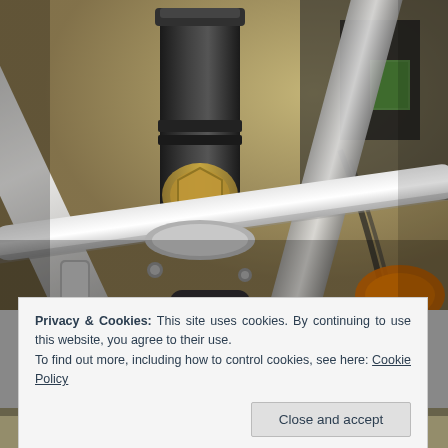[Figure (photo): Close-up photograph of a mechanical testing apparatus or engineering equipment showing metal tubes/rods connected to a central black cylindrical component with a brass/gold fitting, mounted on a frame. Background shows laboratory equipment.]
Privacy & Cookies: This site uses cookies. By continuing to use this website, you agree to their use.
To find out more, including how to control cookies, see here: Cookie Policy
Close and accept